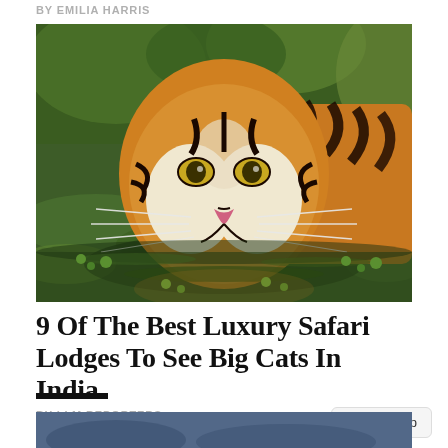BY EMILIA HARRIS
[Figure (photo): A Bengal tiger wading in green algae-covered water, facing the camera closely, with orange and black striped fur and white whiskers.]
9 Of The Best Luxury Safari Lodges To See Big Cats In India
BY LLM REPORTERS
[Figure (photo): Bottom partial image of another article, appearing to show a landscape or wildlife scene.]